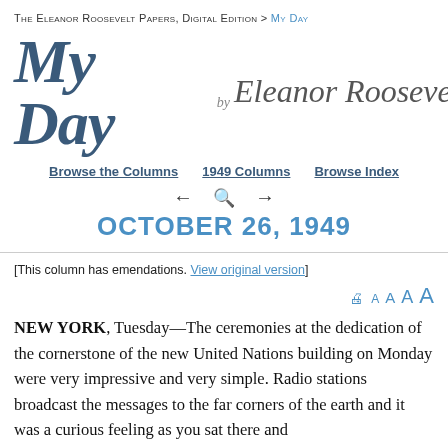The Eleanor Roosevelt Papers, Digital Edition > My Day
[Figure (logo): My Day by Eleanor Roosevelt logo with cursive signature]
Browse the Columns   1949 Columns   Browse Index
OCTOBER 26, 1949
[This column has emendations. View original version]
NEW YORK, Tuesday—The ceremonies at the dedication of the cornerstone of the new United Nations building on Monday were very impressive and very simple. Radio stations broadcast the messages to the far corners of the earth and it was a curious feeling as you sat there and